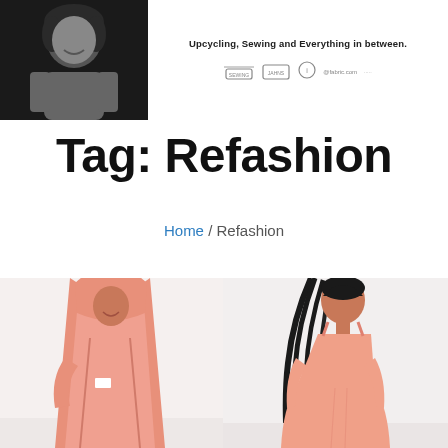Upcycling, Sewing and Everything in between.
Tag: Refashion
Home / Refashion
[Figure (photo): Two photos side by side of a child wearing a salmon/coral colored fabric: left photo shows the child draped in a large hooded coral fabric garment like a cloak; right photo shows the same child wearing a sleeveless coral dress with flowing skirt.]